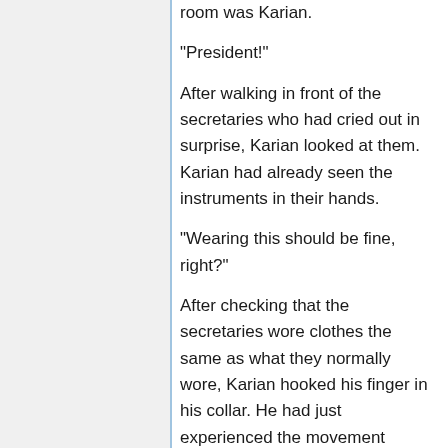Standing in the entrance to the waiting room was Karian.
"President!"
After walking in front of the secretaries who had cried out in surprise, Karian looked at them. Karian had already seen the instruments in their hands.
"Wearing this should be fine, right?"
After checking that the secretaries wore clothes the same as what they normally wore, Karian hooked his finger in his collar. He had just experienced the movement abilities of a Military Artist, and sweat not caused by heat had made his neck and back a bit uncomfortable. It was a bit unsightly to open his collar in front of others, so Karian could only let his neck air out a bit.
"Y......yes."